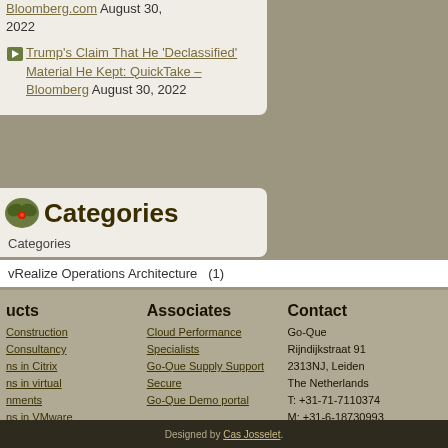Bloomberg.com August 30, 2022
Trump's Claim That He 'Declassified' Material He Kept: QuickTake – Bloomberg August 30, 2022
Categories
Categories
vRealize Operations Architecture  (1)
ucts
Construction
Consultancy
ns in Citrix
ns in virtual
nments
ns in VMware
ssment
Associates
Cloud Performance Specialists
Go-Que Supply Support
Secure
Go-Que Demo portal
Contact
Go-Que
Rijndijkstraat 91
2313NJ, Leiden
The Netherlands
T: +31-71-7110374
M: +31-6-18730993
e: info@go-que.com
Designed by Cas Josselet.